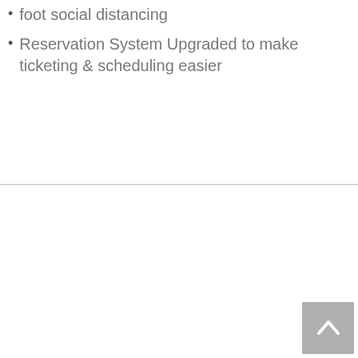foot social distancing
Reservation System Upgraded to make ticketing & scheduling easier
[Figure (illustration): Purple outline illustration of a crumpled or folded piece of cloth/fabric, drawn in a simple cartoon style with purple strokes on white background]
[Figure (other): Back to top button - grey square with white upward-pointing chevron/caret arrow]